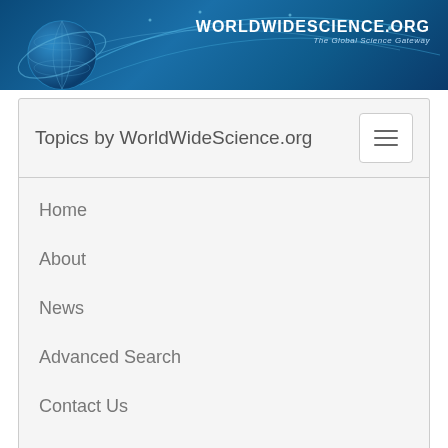[Figure (logo): WorldWideScience.org banner with globe logo, swirling arc lines on dark blue background, and site name with tagline 'The Global Science Gateway']
Topics by WorldWideScience.org
Home
About
News
Advanced Search
Contact Us
Site Map
Help
Sample records for lymphoma cells electronic